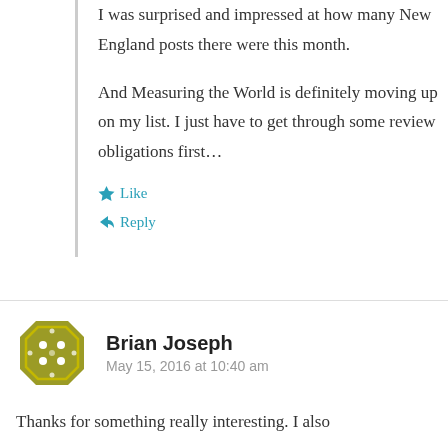I was surprised and impressed at how many New England posts there were this month.
And Measuring the World is definitely moving up on my list. I just have to get through some review obligations first…
★ Like
↪ Reply
Brian Joseph
May 15, 2016 at 10:40 am
Thanks for something really interesting. I also…